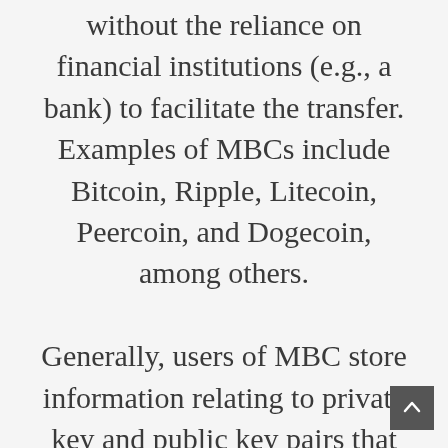without the reliance on financial institutions (e.g., a bank) to facilitate the transfer. Examples of MBCs include Bitcoin, Ripple, Litecoin, Peercoin, and Dogecoin, among others.

Generally, users of MBC store information relating to private key and public key pairs that are associated with specific values of MBC in MBC wallet applications. The wallet applications are used to